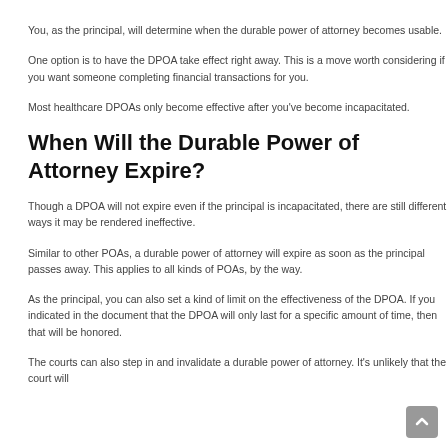You, as the principal, will determine when the durable power of attorney becomes usable.
One option is to have the DPOA take effect right away. This is a move worth considering if you want someone completing financial transactions for you.
Most healthcare DPOAs only become effective after you've become incapacitated.
When Will the Durable Power of Attorney Expire?
Though a DPOA will not expire even if the principal is incapacitated, there are still different ways it may be rendered ineffective.
Similar to other POAs, a durable power of attorney will expire as soon as the principal passes away. This applies to all kinds of POAs, by the way.
As the principal, you can also set a kind of limit on the effectiveness of the DPOA. If you indicated in the document that the DPOA will only last for a specific amount of time, then that will be honored.
The courts can also step in and invalidate a durable power of attorney. It's unlikely that the court will